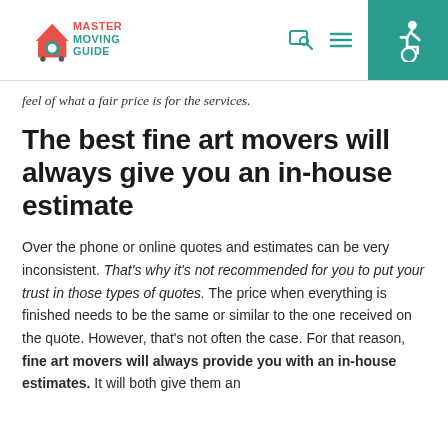Master Moving Guide [logo] [search icon] [menu icon] [accessibility icon]
feel of what a fair price is for the services.
The best fine art movers will always give you an in-house estimate
Over the phone or online quotes and estimates can be very inconsistent. That’s why it’s not recommended for you to put your trust in those types of quotes. The price when everything is finished needs to be the same or similar to the one received on the quote. However, that’s not often the case. For that reason, fine art movers will always provide you with an in-house estimates. It will both give them an